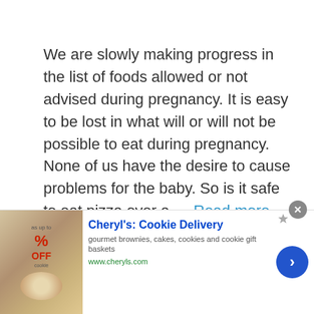We are slowly making progress in the list of foods allowed or not advised during pregnancy. It is easy to be lost in what will or will not be possible to eat during pregnancy. None of us have the desire to cause problems for the baby. So is it safe to eat pizza over a … Read more
[Figure (other): Advertisement banner for Cheryl's Cookie Delivery showing gourmet brownies and cookies image on left, ad title 'Cheryl's: Cookie Delivery', description 'gourmet brownies, cakes, cookies and cookie gift baskets', URL 'www.cheryls.com', and a blue circular arrow button on the right.]